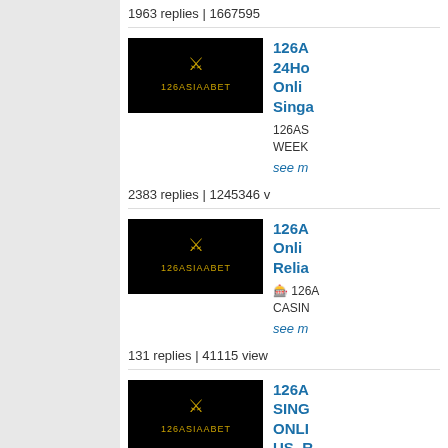1963 replies | 1667595
[Figure (logo): 126ASIAABET logo on black background]
126A 24Ho Onli Singa
126AS WEEK
see m
2383 replies | 1245346 v
[Figure (logo): 126ASIAABET logo on black background]
126A Onli Relia
🎰 126A CASIN
see m
131 replies | 41115 view
[Figure (logo): 126ASIAABET logo on black background]
126A SING ONLI US. R